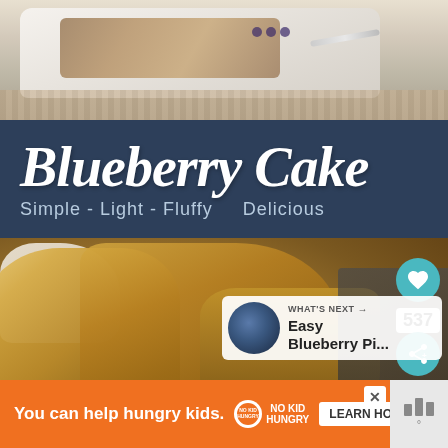[Figure (photo): Top photo showing blueberry cake on a white plate with spoon, on a woven mat background]
Blueberry Cake
Simple - Light - Fluffy    Delicious
[Figure (photo): Close-up photo of blueberry cake crumble in a baking pan with white cream visible]
537
WHAT'S NEXT → Easy Blueberry Pi...
You can help hungry kids.   NO KID HUNGRY   LEARN HOW